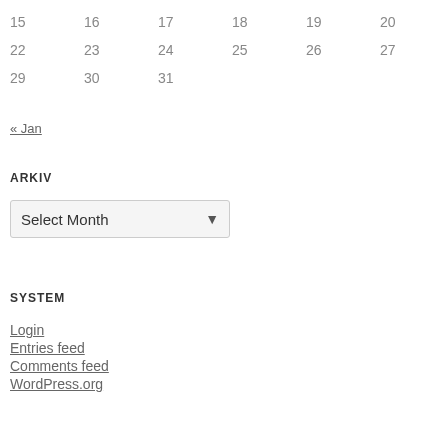| 15 | 16 | 17 | 18 | 19 | 20 | 21 |
| 22 | 23 | 24 | 25 | 26 | 27 | 28 |
| 29 | 30 | 31 |  |  |  |  |
« Jan
ARKIV
Select Month
SYSTEM
Login
Entries feed
Comments feed
WordPress.org